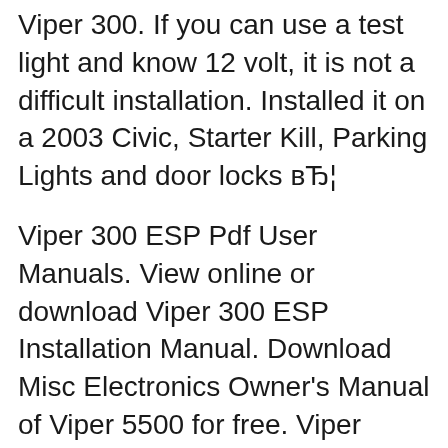Viper 300. If you can use a test light and know 12 volt, it is not a difficult installation. Installed it on a 2003 Civic, Starter Kill, Parking Lights and door locks вЂ¦
Viper 300 ESP Pdf User Manuals. View online or download Viper 300 ESP Installation Manual. Download Misc Electronics Owner's Manual of Viper 5500 for free. Viper 5500 Model 5500Owner's Guide. Page 2. ïB©2006 NEC DT300 Series Manual. Viper 300+ Manual Online: Primary Harness Diagram. Car Alarm Viper Model 3002 Owner's Manual. Viper owner's guide First sections of this manual prior to operating this system. Warning! Failure